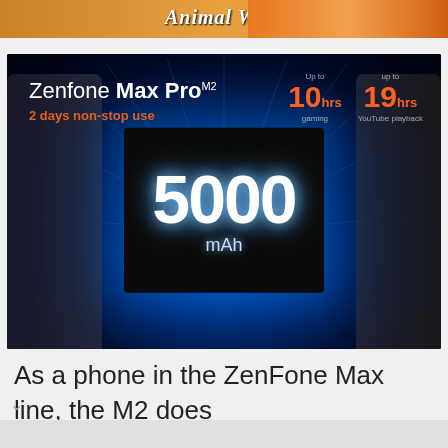[Figure (illustration): Animal World app advertisement banner with illustrated pig and coins on orange/brown gradient background]
[Figure (photo): Asus ZenFone Max Pro product promotional image showing the phone against dark blue radial glow background with two phones on sides, battery box in center displaying '5000 mAh', product name 'Zenfone Max Pro' with tagline '2 days non-stop use', and specs showing 'up to 10hrs gaming' and 'up to 19hrs YouTube playback']
As a phone in the ZenFone Max line, the M2 does not disappoint when it comes to the battery. The